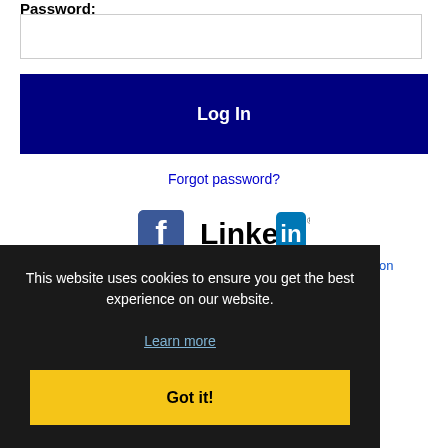Password:
[Figure (screenshot): Password input field (text box)]
Log In
Forgot password?
[Figure (logo): Facebook logo icon and LinkedIn logo]
This website uses cookies to ensure you get the best experience on our website.
Learn more
Got it!